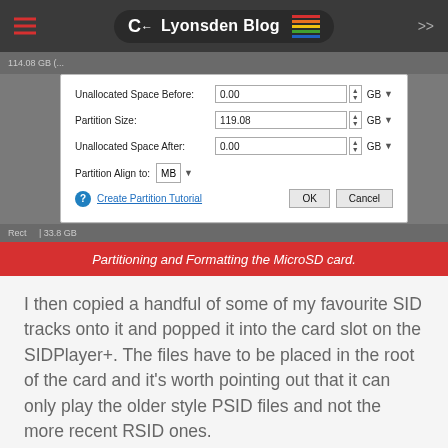Lyonsden Blog
[Figure (screenshot): GParted or similar partition manager dialog showing fields: Unallocated Space Before (0.00 GB), Partition Size (119.08 GB), Unallocated Space After (0.00 GB), Partition Align to: MB, with Create Partition Tutorial link and OK/Cancel buttons. Status bar shows 33.8 GB.]
Partitioning and Formatting the MicroSD card.
I then copied a handful of some of my favourite SID tracks onto it and popped it into the card slot on the SIDPlayer+. The files have to be placed in the root of the card and it's worth pointing out that it can only play the older style PSID files and not the more recent RSID ones.